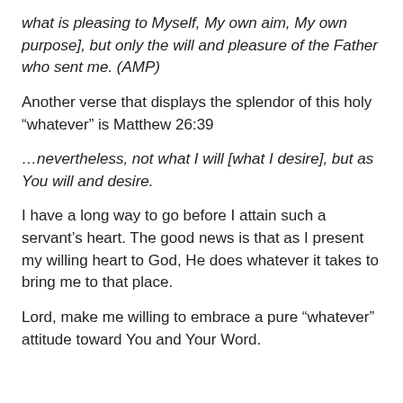what is pleasing to Myself, My own aim, My own purpose], but only the will and pleasure of the Father who sent me. (AMP)
Another verse that displays the splendor of this holy “whatever” is Matthew 26:39
…nevertheless, not what I will [what I desire], but as You will and desire.
I have a long way to go before I attain such a servant’s heart. The good news is that as I present my willing heart to God, He does whatever it takes to bring me to that place.
Lord, make me willing to embrace a pure “whatever” attitude toward You and Your Word.